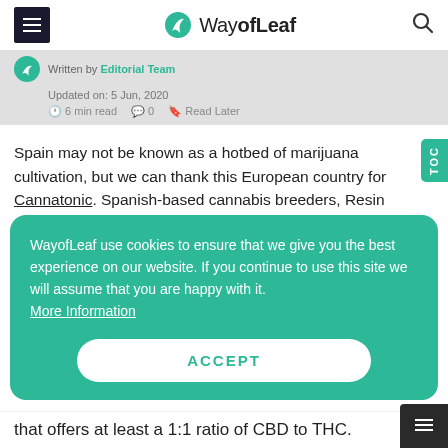WayofLeaf
Written by Editorial Team
Updated on: 5 Jun, 2020
6 min read   0   Read Later
Spain may not be known as a hotbed of marijuana cultivation, but we can thank this European country for Cannatonic. Spanish-based cannabis breeders, Resin Seeds, are responsible for creating this
WayofLeaf use cookies to ensure that we give you the best experience on our website. If you continue to use this site we will assume that you are happy with it.
More Information
ACCEPT
that offers at least a 1:1 ratio of CBD to THC.